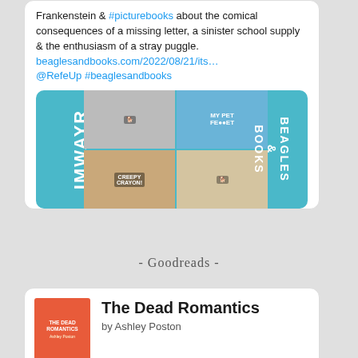Frankenstein & #picturebooks about the comical consequences of a missing letter, a sinister school supply & the enthusiasm of a stray puggle.
beaglesandbooks.com/2022/08/21/its…
@RefeUp #beaglesandbooks
[Figure (photo): A collage image with teal background showing photos of dogs with books, with text 'IMWAYR' on the left side and 'BEAGLES & BOOKS' on the right side]
- Goodreads -
[Figure (photo): Book cover for 'The Dead Romantics' showing a red/orange cover with title and author Ashley Poston]
The Dead Romantics
by Ashley Poston